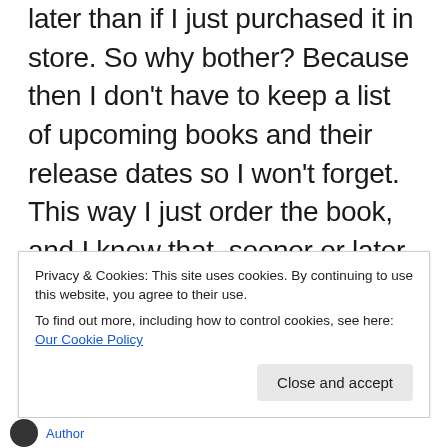later than if I just purchased it in store. So why bother? Because then I don't have to keep a list of upcoming books and their release dates so I won't forget. This way I just order the book, and I know that, sooner or later, it'll show up. However if there's a book I am really dying to get my hands on, I'll wait until it's released and order it then, because I know it'll be faster. I really wish pre-orders had some sort of release-day arrival guarantee, though! Wouldn't that be
Privacy & Cookies: This site uses cookies. By continuing to use this website, you agree to their use.
To find out more, including how to control cookies, see here: Our Cookie Policy